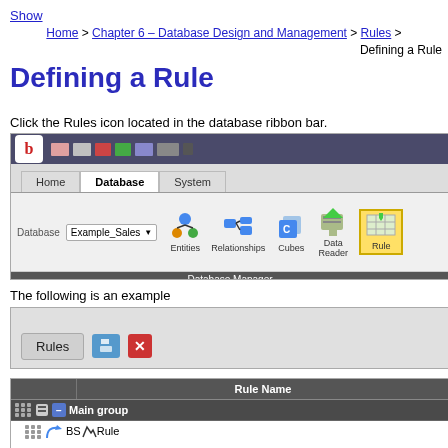Show
Home > Chapter 6 – Database Design and Management > Rules > Defining a Rule
Defining a Rule
Click the Rules icon located in the database ribbon bar.
[Figure (screenshot): Screenshot of database software showing the Database ribbon tab with icons for Entities, Relationships, Cubes, Data Reader, and Rules. Database is set to Example_Sales.]
The following is an example
[Figure (screenshot): Screenshot showing a Rules dialog bar with save and close buttons.]
[Figure (screenshot): Screenshot showing a Rules table with Rule Name column, Main group row and BS Rule sub-row.]